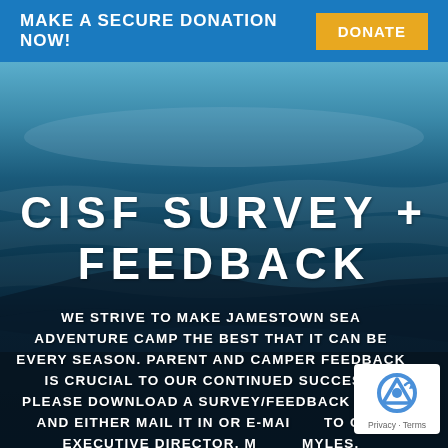MAKE A SECURE DONATION NOW! DONATE
[Figure (photo): Ocean/sea photograph with colorful sailboat sails visible at top, dark ocean waves below, blue sky in background]
CISF SURVEY + FEEDBACK
WE STRIVE TO MAKE JAMESTOWN SEA ADVENTURE CAMP THE BEST THAT IT CAN BE EVERY SEASON. PARENT AND CAMPER FEEDBACK IS CRUCIAL TO OUR CONTINUED SUCCESS. PLEASE DOWNLOAD A SURVEY/FEEDBACK FORM AND EITHER MAIL IT IN OR E-MAIL IT TO CISF EXECUTIVE DIRECTOR, MYLES.